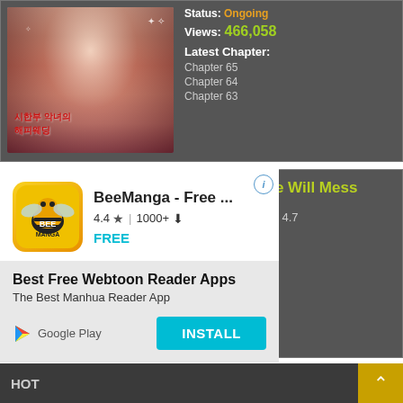[Figure (screenshot): Manga cover image with Korean text '시한부 악녀의 해피웨딩' and decorative floral artwork]
Status: Ongoing
Views: 466,058
Latest Chapter:
Chapter 65
Chapter 64
Chapter 63
[Figure (screenshot): BeeManga app advertisement overlay with app icon, ratings 4.4 stars, 1000+ downloads, FREE label, headline 'Best Free Webtoon Reader Apps', subheadline 'The Best Manhua Reader App', Google Play badge and INSTALL button]
BeeManga - Free ...
4.4 ★ | 1000+ ⬇
FREE
Best Free Webtoon Reader Apps
The Best Manhua Reader App
INSTALL
elle Will Mess
4.7
ing
55
er:
HOT